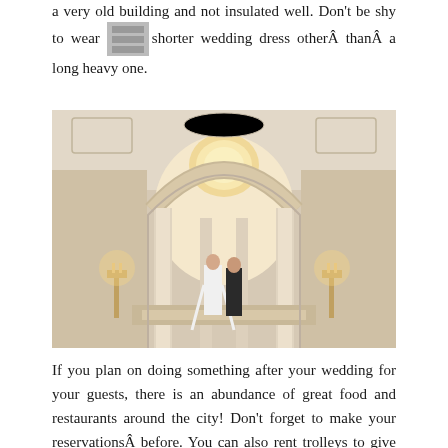a very old building and not insulated well. Don't be shy to wear a bit shorter wedding dress otherÂ thanÂ a long heavy one.
[Figure (photo): Wedding couple standing under a grand ornate arch with classical columns and relief sculptures in what appears to be San Francisco City Hall, lit with warm golden light]
If you plan on doing something after your wedding for your guests, there is an abundance of great food and restaurants around the city! Don’t forget to make your reservationsÂ before. You can also rent trolleys to give your guests a tour of the city!